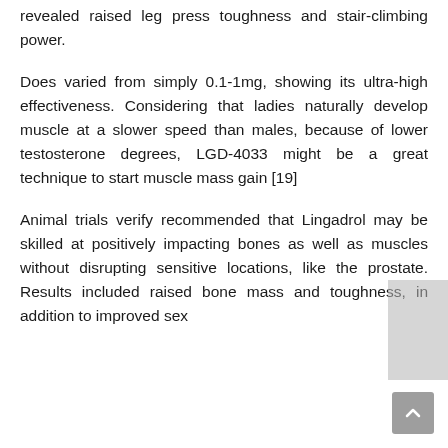revealed raised leg press toughness and stair-climbing power.
Does varied from simply 0.1-1mg, showing its ultra-high effectiveness. Considering that ladies naturally develop muscle at a slower speed than males, because of lower testosterone degrees, LGD-4033 might be a great technique to start muscle mass gain [19]
Animal trials verify recommended that Lingadrol may be skilled at positively impacting bones as well as muscles without disrupting sensitive locations, like the prostate. Results included raised bone mass and toughness, in addition to improved sex